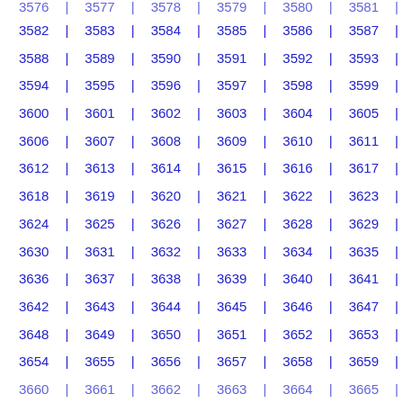3576 | 3577 | 3578 | 3579 | 3580 | 3581 | (partial top row)
3582 | 3583 | 3584 | 3585 | 3586 | 3587 |
3588 | 3589 | 3590 | 3591 | 3592 | 3593 |
3594 | 3595 | 3596 | 3597 | 3598 | 3599 |
3600 | 3601 | 3602 | 3603 | 3604 | 3605 |
3606 | 3607 | 3608 | 3609 | 3610 | 3611 |
3612 | 3613 | 3614 | 3615 | 3616 | 3617 |
3618 | 3619 | 3620 | 3621 | 3622 | 3623 |
3624 | 3625 | 3626 | 3627 | 3628 | 3629 |
3630 | 3631 | 3632 | 3633 | 3634 | 3635 |
3636 | 3637 | 3638 | 3639 | 3640 | 3641 |
3642 | 3643 | 3644 | 3645 | 3646 | 3647 |
3648 | 3649 | 3650 | 3651 | 3652 | 3653 |
3654 | 3655 | 3656 | 3657 | 3658 | 3659 |
3660 | 3661 | 3662 | 3663 | 3664 | 3665 | (partial bottom row)